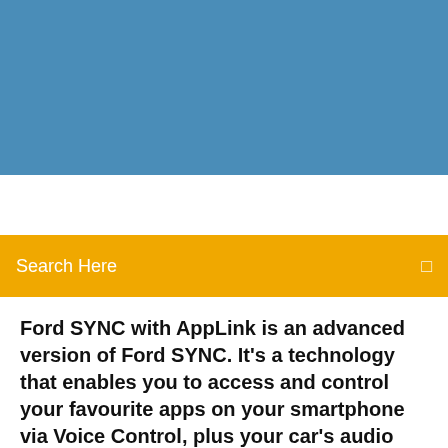[Figure (photo): Blue sky/gradient header image banner at top of webpage]
Search Here
Ford SYNC with AppLink is an advanced version of Ford SYNC. It's a technology that enables you to access and control your favourite apps on your smartphone via Voice Control, plus your car's audio systems, steering-wheel controls, multifunctional display and centrestack.
Sygic Car Navigation is navigation app especially optimised to work with your car's built-in infotainment system via smartphone to in-dash connectivity. Just connect Sygic Car Navigation via USB